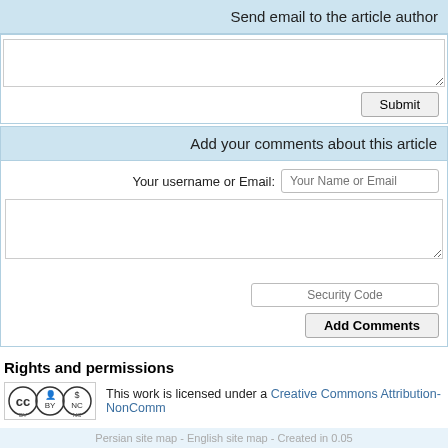Send email to the article author
[Figure (screenshot): Email textarea input box]
Submit
Add your comments about this article
Your username or Email:
[Figure (screenshot): Comment textarea input box]
Security Code
Add Comments
Rights and permissions
[Figure (logo): Creative Commons Attribution-NonCommercial license logo with CC BY NC icons]
This work is licensed under a Creative Commons Attribution-NonComm
Volume 7, Issue 4 (3-2019)
Persian site map - English site map - Created in 0.05